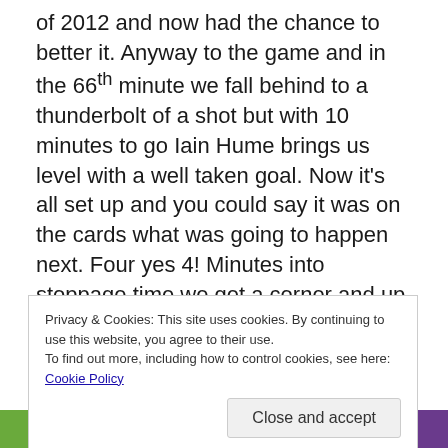of 2012 and now had the chance to better it. Anyway to the game and in the 66th minute we fall behind to a thunderbolt of a shot but with 10 minutes to go Iain Hume brings us level with a well taken goal. Now it's all set up and you could say it was on the cards what was going to happen next. Four yes 4! Minutes into stoppage time we get a corner and up steps our inspirational leader of men, captain fantastic and interim assistant manager, the man mountain that is Rob Jones to head home the winner to confirm our 12th away game on the bounce unbeaten and a new club record which can be seen below.
Privacy & Cookies: This site uses cookies. By continuing to use this website, you agree to their use. To find out more, including how to control cookies, see here: Cookie Policy
[Figure (photo): Bottom strip showing partial images of sports/event scenes in green, dark blue, and purple tones]